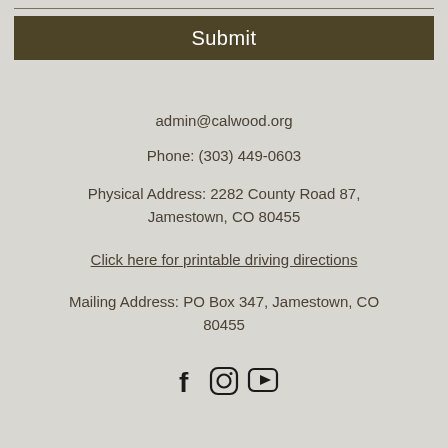Submit
admin@calwood.org
Phone: (303) 449-0603
Physical Address: 2282 County Road 87, Jamestown, CO 80455
Click here for printable driving directions
Mailing Address: PO Box 347, Jamestown, CO 80455
[Figure (other): Social media icons: Facebook, Instagram, YouTube]